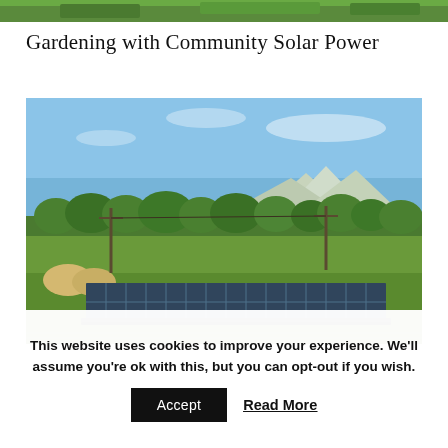[Figure (photo): Partial top edge of a photo cropped at the top of the page — green vegetation visible]
Gardening with Community Solar Power
[Figure (photo): Outdoor photo of a row of solar panels in a field with green trees, mountains and blue sky in the background, and hay bales to the left]
This website uses cookies to improve your experience. We'll assume you're ok with this, but you can opt-out if you wish.
Accept   Read More